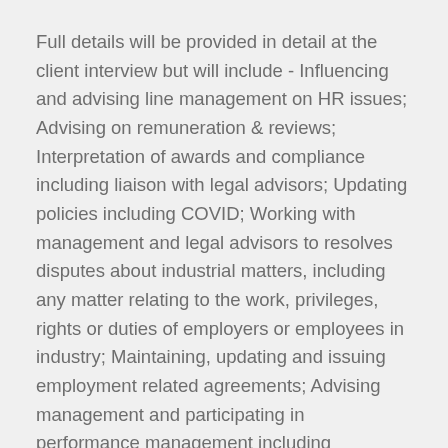Full details will be provided in detail at the client interview but will include - Influencing and advising line management on HR issues; Advising on remuneration & reviews; Interpretation of awards and compliance including liaison with legal advisors; Updating policies including COVID; Working with management and legal advisors to resolves disputes about industrial matters, including any matter relating to the work, privileges, rights or duties of employers or employees in industry; Maintaining, updating and issuing employment related agreements; Advising management and participating in performance management including employment separation; Liaising with Visa Consultants; Recruitment across a broad diverse and inclusive workforce; Any and all other duties.